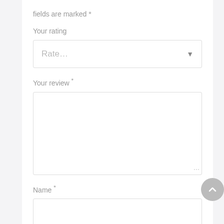fields are marked *
Your rating
[Figure (screenshot): Dropdown select input with placeholder text 'Rate...' and a dropdown arrow]
Your review *
[Figure (screenshot): Large textarea input box for review text, with resize handle at bottom right]
Name *
[Figure (screenshot): Text input box for name]
Email *